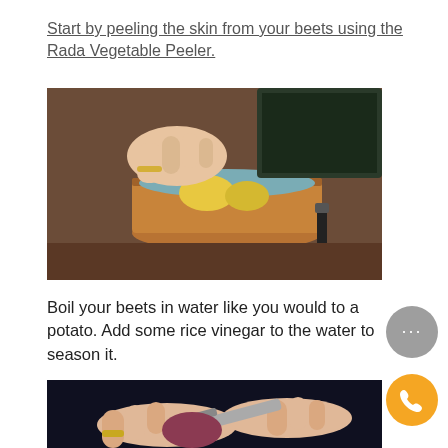Start by peeling the skin from your beets using the Rada Vegetable Peeler.
[Figure (photo): Hands placing yellow beets into a copper pot on a kitchen counter, with a knife nearby]
Boil your beets in water like you would to a potato. Add some rice vinegar to the water to season it.
[Figure (photo): Hands holding a vegetable peeler peeling a beet against a dark background]